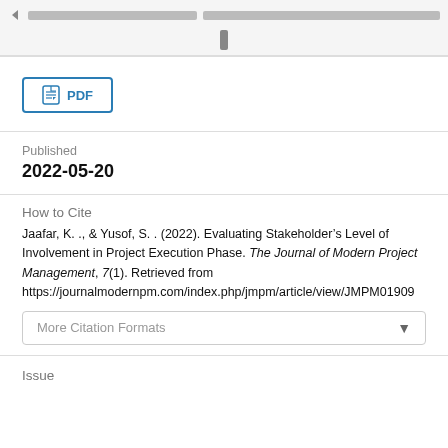[Figure (screenshot): Top navigation/header bar with page icon, two gray text placeholder bars, and small gray scroll indicator icon below]
PDF
Published
2022-05-20
How to Cite
Jaafar, K. ., & Yusof, S. . (2022). Evaluating Stakeholder’s Level of Involvement in Project Execution Phase. The Journal of Modern Project Management, 7(1). Retrieved from https://journalmodernpm.com/index.php/jmpm/article/view/JMPM01909
More Citation Formats
Issue